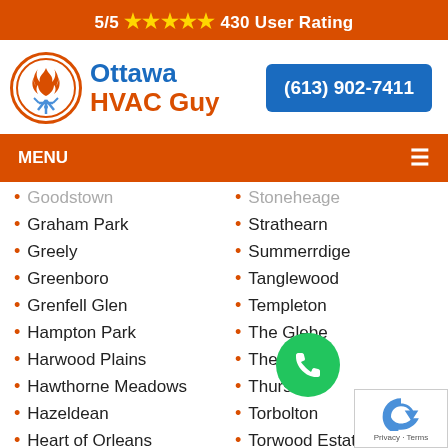5/5 ★★★★★ 430 User Rating
[Figure (logo): Ottawa HVAC Guy logo with flame and snowflake in orange circle, company name in blue and orange text]
(613) 902-7411
MENU
Goodstown
Graham Park
Greely
Greenboro
Grenfell Glen
Hampton Park
Harwood Plains
Hawthorne Meadows
Hazeldean
Heart of Orleans
Hearts Desire
Stoneheage
Strathearn
Summerrdige
Tanglewood
Templeton
The Glebe
The Mea…
Thurso
Torbolton
Torwood Estates
Town Centre